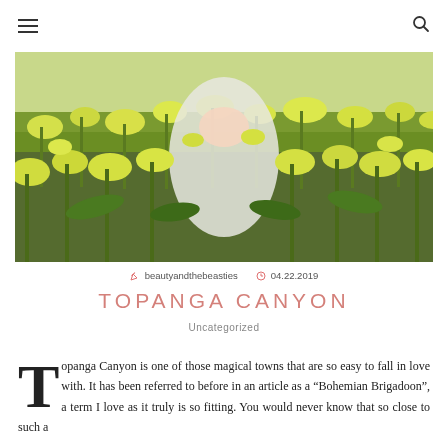Navigation menu and search icon
[Figure (photo): Person in white dress standing among tall yellow wildflowers (rapeseed/mustard flowers) in a field, photographed from waist down, lush green stems surrounding]
beautyandthebeasties  04.22.2019
TOPANGA CANYON
Uncategorized
Topanga Canyon is one of those magical towns that are so easy to fall in love with. It has been referred to before in an article as a "Bohemian Brigadoon", a term I love as it truly is so fitting. You would never know that so close to such a